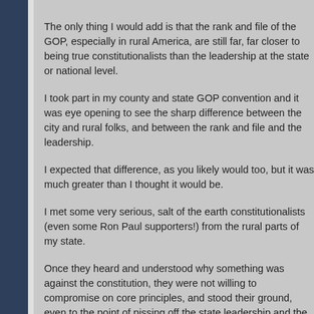The only thing I would add is that the rank and file of the GOP, especially in rural America, are still far, far closer to being true constitutionalists than the leadership at the state or national level.
I took part in my county and state GOP convention and it was eye opening to see the sharp difference between the city and rural folks, and between the rank and file and the leadership.
I expected that difference, as you likely would too, but it was much greater than I thought it would be.
I met some very serious, salt of the earth constitutionalists (even some Ron Paul supporters!) from the rural parts of my state.
Once they heard and understood why something was against the constitution, they were not willing to compromise on core principles, and stood their ground, even to the point of pissing off the state leadership and the M...
It really lifted my spirits to meet such men and women.
There is hope yet for many, many GOP members.
February 27, 2009 at 3:38 PM